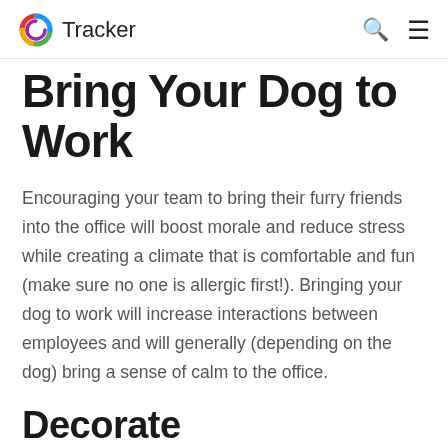Tracker
Bring Your Dog to Work
Encouraging your team to bring their furry friends into the office will boost morale and reduce stress while creating a climate that is comfortable and fun (make sure no one is allergic first!). Bringing your dog to work will increase interactions between employees and will generally (depending on the dog) bring a sense of calm to the office.
Decorate